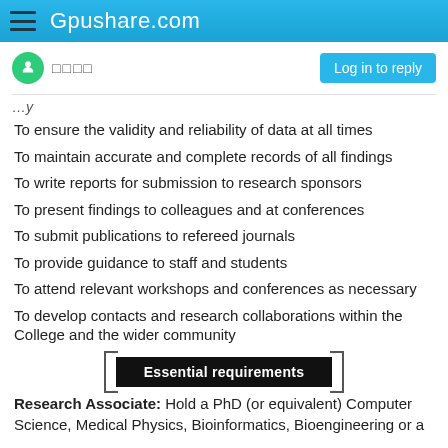Gpushare.com
□□□□
...y
To ensure the validity and reliability of data at all times
To maintain accurate and complete records of all findings
To write reports for submission to research sponsors
To present findings to colleagues and at conferences
To submit publications to refereed journals
To provide guidance to staff and students
To attend relevant workshops and conferences as necessary
To develop contacts and research collaborations within the College and the wider community
Essential requirements
Research Associate: Hold a PhD (or equivalent) Computer Science, Medical Physics, Bioinformatics, Bioengineering or a